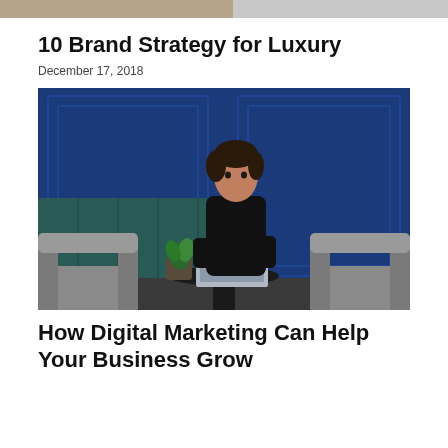[Figure (other): Two-tone top bar: left portion in tan/beige, right portion in gray]
10 Brand Strategy for Luxury
December 17, 2018
[Figure (photo): A young man in a black turtleneck sitting at a small round table with a laptop and small potted plant, in front of an ornate deep blue wall with panel molding; two gray chairs in foreground.]
How Digital Marketing Can Help Your Business Grow